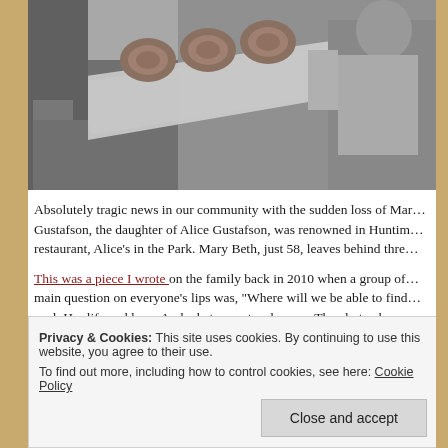[Figure (photo): Black and white photo of a person holding a baking tray with cinnamon rolls in a bakery or restaurant kitchen setting.]
Absolutely tragic news in our community with the sudden loss of Mary Beth Gustafson, the daughter of Alice Gustafson, was renowned in Huntington for her restaurant, Alice's in the Park. Mary Beth, just 58, leaves behind three...
This was a piece I wrote on the family back in 2010 when a group of... main question on everyone's lips was, "Where will we be able to find..." soul. Her life and love. And what a master she was. The photo above... Kerstin along with she and Alice; three generations of Gustafson wor...
Privacy & Cookies: This site uses cookies. By continuing to use this website, you agree to their use.
To find out more, including how to control cookies, see here: Cookie Policy
Close and accept